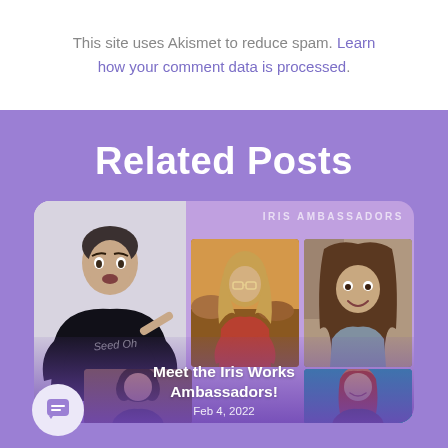This site uses Akismet to reduce spam. Learn how your comment data is processed.
Related Posts
[Figure (photo): Card showing multiple portrait photos of people with text 'IRIS AMBASSADORS' watermark. Includes portraits of a man in a black shirt, a woman outdoors in golden light, a smiling woman with long hair, a woman with dark curly hair, and a woman with red hair against teal background.]
Meet the Iris Works Ambassadors!
Feb 4, 2022